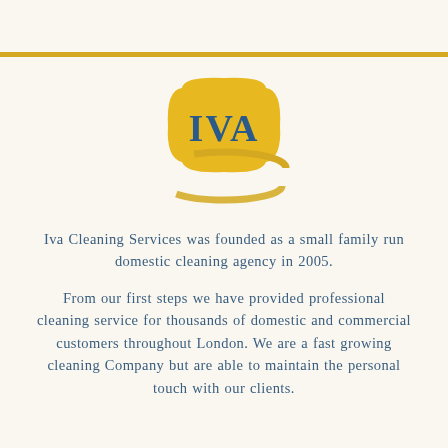[Figure (logo): IVA Cleaning Services logo: yellow/gold rounded square cushion shape with 'IVA' text in blue serif font, with a gold orbital ring around it]
Iva Cleaning Services was founded as a small family run domestic cleaning agency in 2005.
From our first steps we have provided professional cleaning service for thousands of domestic and commercial customers throughout London. We are a fast growing cleaning Company but are able to maintain the personal touch with our clients.